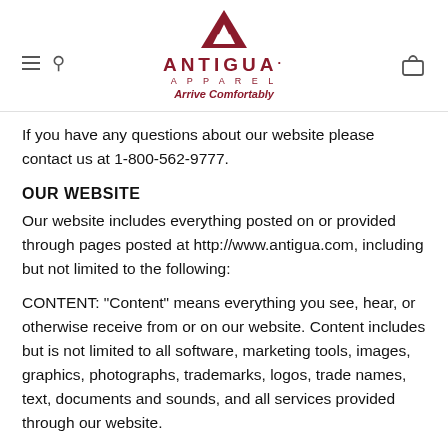Antigua Apparel — Arrive Comfortably
If you have any questions about our website please contact us at 1-800-562-9777.
OUR WEBSITE
Our website includes everything posted on or provided through pages posted at http://www.antigua.com, including but not limited to the following:
CONTENT: "Content" means everything you see, hear, or otherwise receive from or on our website. Content includes but is not limited to all software, marketing tools, images, graphics, photographs, trademarks, logos, trade names, text, documents and sounds, and all services provided through our website.